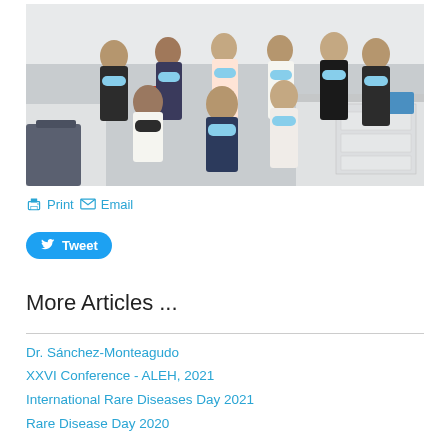[Figure (photo): Group photo of approximately 8 women wearing face masks in a laboratory setting. They are standing and crouching in two rows. Lab benches visible in background.]
🖨 Print ✉ Email
Tweet
More Articles ...
Dr. Sánchez-Monteagudo
XXVI Conference - ALEH, 2021
International Rare Diseases Day 2021
Rare Disease Day 2020